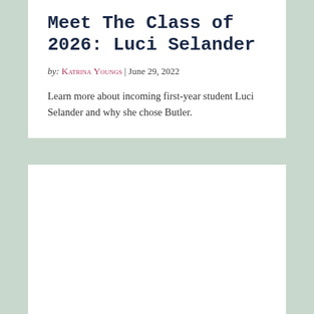Meet The Class of 2026: Luci Selander
by: Katrina Youngs | June 29, 2022
Learn more about incoming first-year student Luci Selander and why she chose Butler.
[Figure (photo): White rectangle placeholder for photo content]